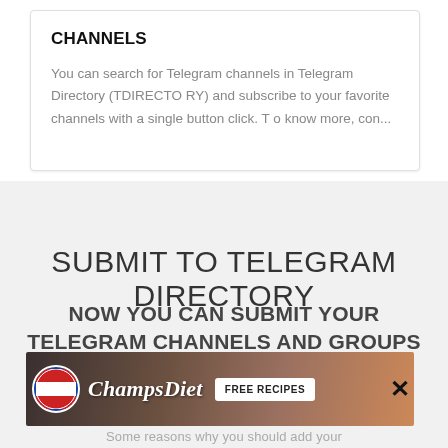CHANNELS
You can search for Telegram channels in Telegram Directory (TDIRECTORY) and subscribe to your favorite channels with a single button click. To know more, con...
SUBMIT TO TELEGRAM DIRECTORY
NOW YOU CAN SUBMIT YOUR TELEGRAM CHANNELS AND GROUPS TO TELEGRAM
[Figure (photo): Advertisement banner for ChampsDiet showing food background with logo circle, brand name in cursive, and FREE RECIPES button]
Some reasons why you should add your